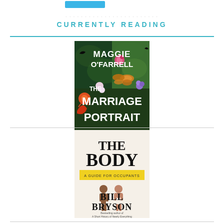CURRENTLY READING
[Figure (illustration): Book cover of 'The Marriage Portrait' by Maggie O'Farrell, featuring colorful botanical and wildlife imagery with large white text.]
[Figure (illustration): Book cover of 'The Body: A Guide for Occupants' by Bill Bryson, cream/white background with illustrated human figures and yellow subtitle band.]